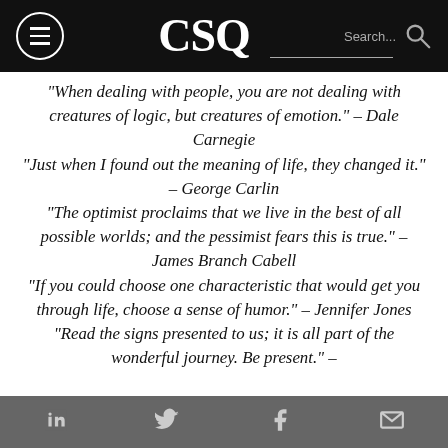CSQ
“When dealing with people, you are not dealing with creatures of logic, but creatures of emotion.” – Dale Carnegie “Just when I found out the meaning of life, they changed it.” – George Carlin “The optimist proclaims that we live in the best of all possible worlds; and the pessimist fears this is true.” – James Branch Cabell “If you could choose one characteristic that would get you through life, choose a sense of humor.” – Jennifer Jones “Read the signs presented to us; it is all part of the wonderful journey. Be present.” – Jennifer Di...
in | Twitter | f | mail